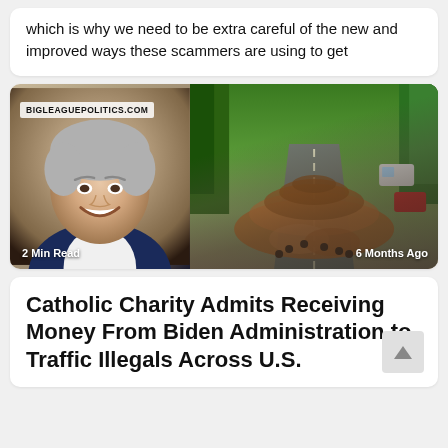which is why we need to be extra careful of the new and improved ways these scammers are using to get
[Figure (photo): Left: headshot of a smiling middle-aged woman with gray hair, white shirt and dark jacket, with 'BIGLEAGUEPOLITICS.COM' label overlay and '2 Min Read' text. Right: aerial photo of a massive migrant caravan walking along a highway through green landscape with '6 Months Ago' text overlay.]
Catholic Charity Admits Receiving Money From Biden Administration to Traffic Illegals Across U.S.